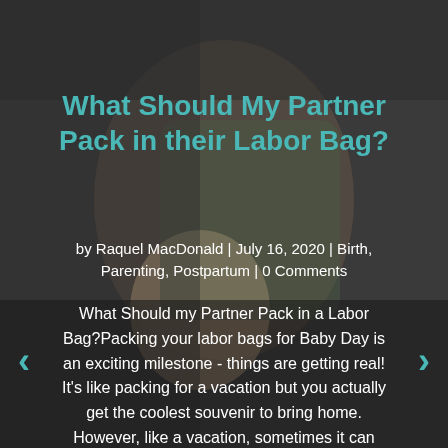[Figure (photo): A close-up photograph showing a man holding a newborn baby against his chest, dark background, intimate parenting moment.]
What Should My Partner Pack in their Labor Bag?
by Raquel MacDonald | July 16, 2020 | Birth, Parenting, Postpartum | 0 Comments
What Should my Partner Pack in a Labor Bag?Packing your labor bags for Baby Day is an exciting milestone - things are getting real! It's like packing for a vacation but you actually get the coolest souvenir to bring home. However, like a vacation, sometimes it can be…